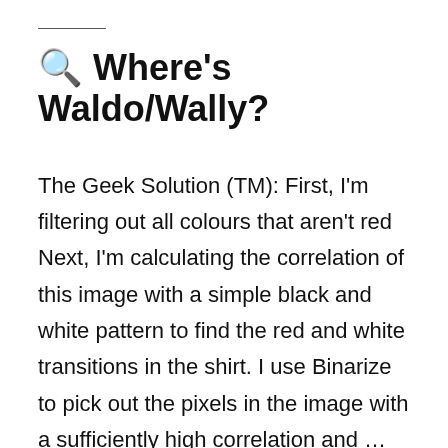🔍 Where's Waldo/Wally?
The Geek Solution (TM): First, I'm filtering out all colours that aren't red Next, I'm calculating the correlation of this image with a simple black and white pattern to find the red and white transitions in the shirt. I use Binarize to pick out the pixels in the image with a sufficiently high correlation and …
Continue reading →